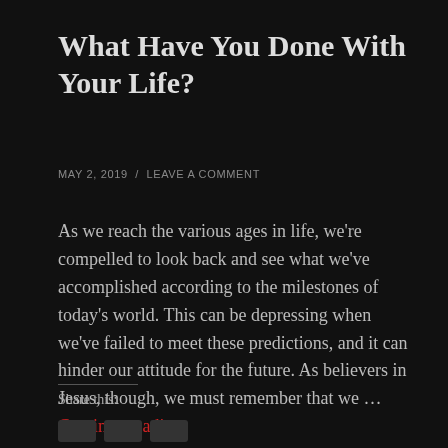What Have You Done With Your Life?
MAY 2, 2019  /  LEAVE A COMMENT
As we reach the various ages in life, we're compelled to look back and see what we've accomplished according to the milestones of today's world. This can be depressing when we've failed to meet these predictions, and it can hinder our attitude for the future. As believers in Jesus, though, we must remember that we … Continue reading
Share this: